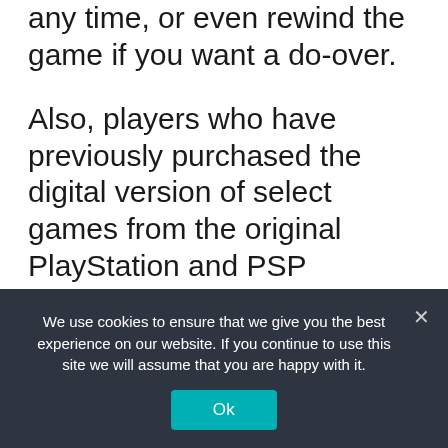any time, or even rewind the game if you want a do-over.
Also, players who have previously purchased the digital version of select games from the original PlayStation and PSP generation will not have to make a separate purchase or sign up to PlayStation Plus to play these titles on PS4 or PS5. When these titles are released for PS4 and PS5, players can head to PlayStation Store and download a version for the consoles at no extra cost if they already own the digital version of the title.
We use cookies to ensure that we give you the best experience on our website. If you continue to use this site we will assume that you are happy with it.
Ok